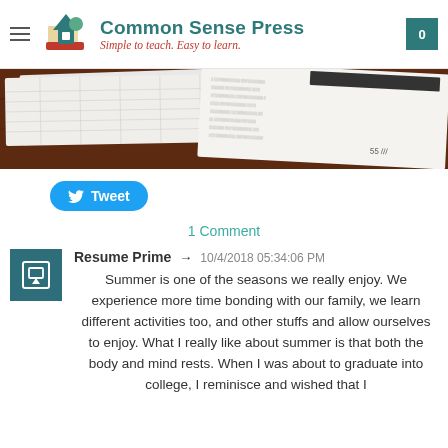Common Sense Press — Simple to teach. Easy to learn.
[Figure (photo): Banner photo showing papers/worksheets spread on a dark wooden surface]
[Figure (screenshot): Tweet button (blue pill-shaped button with Twitter bird icon and 'Tweet' text)]
1 Comment
Resume Prime → 10/4/2018 05:34:06 PM

Summer is one of the seasons we really enjoy. We experience more time bonding with our family, we learn different activities too, and other stuffs and allow ourselves to enjoy. What I really like about summer is that both the body and mind rests. When I was about to graduate into college, I reminisce and wished that I